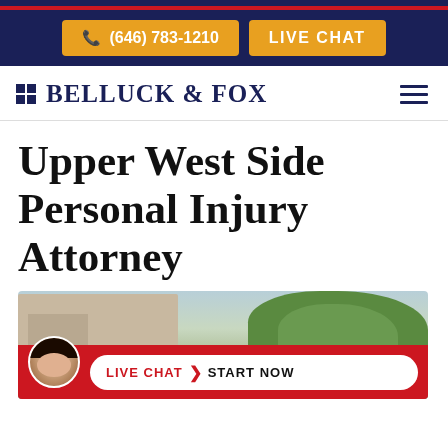(646) 783-1210  LIVE CHAT
[Figure (logo): Belluck & Fox law firm logo with grid icon and serif text]
Upper West Side Personal Injury Attorney
[Figure (photo): Street photo of Upper West Side New York with brownstone buildings and trees]
LIVE CHAT  START NOW